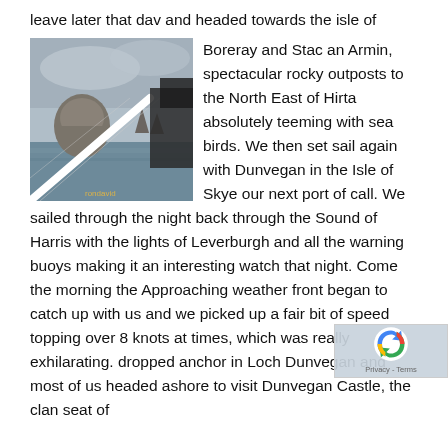leave later that dav and headed towards the isle of
[Figure (photo): View from a sailing boat showing rocky sea stacks (Boreray and Stac an Armin) in the ocean under a grey sky, with a boat railing visible in the foreground.]
Boreray and Stac an Armin, spectacular rocky outposts to the North East of Hirta absolutely teeming with sea birds. We then set sail again with Dunvegan in the Isle of Skye our next port of call. We sailed through the night back through the Sound of Harris with the lights of Leverburgh and all the warning buoys making it an interesting watch that night. Come the morning the Approaching weather front began to catch up with us and we picked up a fair bit of speed topping over 8 knots at times, which was really exhilarating. dropped anchor in Loch Dunvegan and most of us headed ashore to visit Dunvegan Castle, the clan seat of